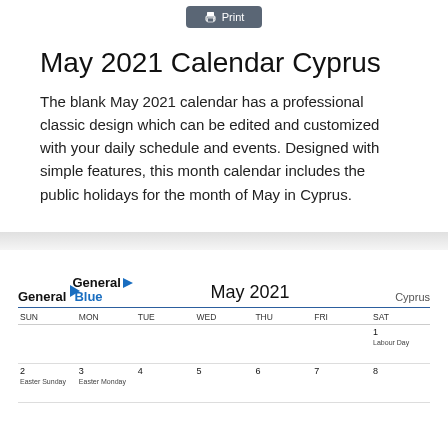[Figure (other): Print button at the top of the page]
May 2021 Calendar Cyprus
The blank May 2021 calendar has a professional classic design which can be edited and customized with your daily schedule and events. Designed with simple features, this month calendar includes the public holidays for the month of May in Cyprus.
[Figure (other): Preview of May 2021 calendar for Cyprus showing month header with GeneralBlue logo, days of the week (SUN-SAT), and first two rows of dates: 1 (Labour Day on Saturday), then 2 (Easter Sunday), 3 (Easter Monday), 4, 5, 6, 7, 8]